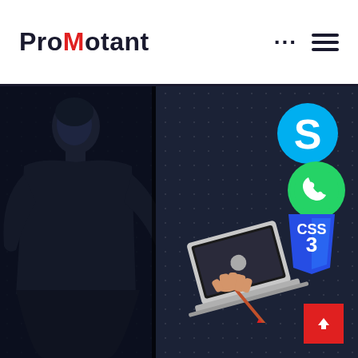Promotant
[Figure (illustration): Hero section with dark navy dotted background, person silhouette on left, and floating app icons (Skype, WhatsApp, CSS3) with a hand holding a MacBook laptop illustration on the right side. A red scroll-to-top arrow button is in the bottom right corner.]